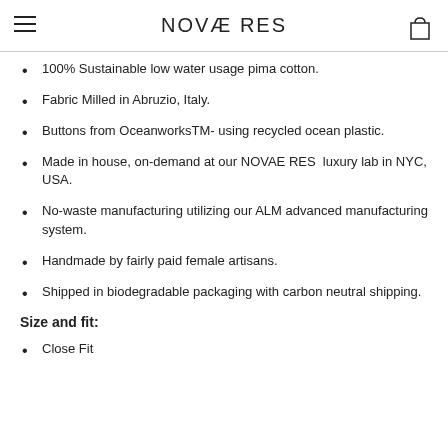NOVAE RES
100% Sustainable low water usage pima cotton.
Fabric Milled in Abruzio, Italy.
Buttons from OceanworksTM- using recycled ocean plastic.
Made in house, on-demand at our NOVAE RES luxury lab in NYC, USA.
No-waste manufacturing utilizing our ALM advanced manufacturing system.
Handmade by fairly paid female artisans.
Shipped in biodegradable packaging with carbon neutral shipping.
Size and fit:
Close Fit